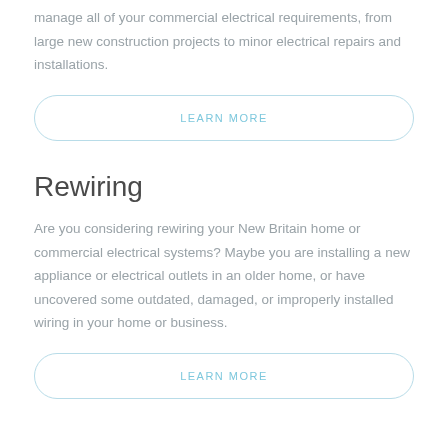manage all of your commercial electrical requirements, from large new construction projects to minor electrical repairs and installations.
LEARN MORE
Rewiring
Are you considering rewiring your New Britain home or commercial electrical systems? Maybe you are installing a new appliance or electrical outlets in an older home, or have uncovered some outdated, damaged, or improperly installed wiring in your home or business.
LEARN MORE